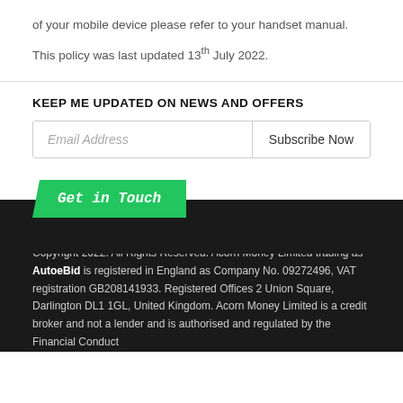of your mobile device please refer to your handset manual.
This policy was last updated 13th July 2022.
KEEP ME UPDATED ON NEWS AND OFFERS
Email Address | Subscribe Now
[Figure (other): Green 'Get in Touch' button over dark background]
Copyright 2022. All Rights Reserved. Acorn Money Limited trading as AutoeBid is registered in England as Company No. 09272496, VAT registration GB208141933. Registered Offices 2 Union Square, Darlington DL1 1GL, United Kingdom. Acorn Money Limited is a credit broker and not a lender and is authorised and regulated by the Financial Conduct